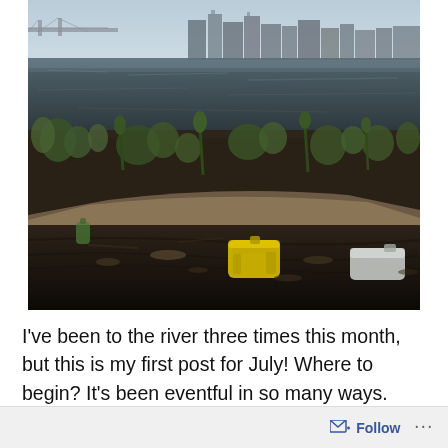[Figure (photo): Photo of a polluted riverbank with plastic debris including a yellow container and other trash floating in muddy water with aquatic vegetation, and a city skyline (Louisville, KY) visible in the background across the river.]
I've been to the river three times this month, but this is my first post for July!  Where to begin?  It's been eventful in so many ways.  First, the hard drive of my computer crashed which put me out of business for a few weeks.  All the
Follow ...